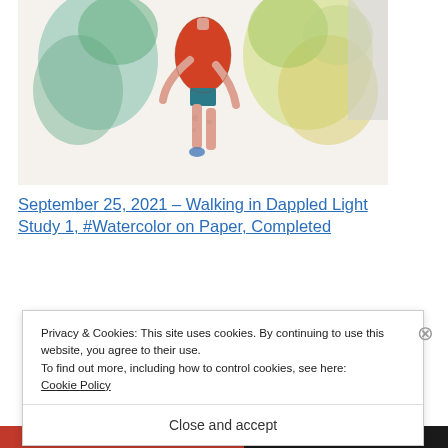[Figure (illustration): Watercolor painting of a figure walking, wearing a red top and dark shorts, with green and yellow foliage in the background, viewed from behind.]
September 25, 2021 – Walking in Dappled Light Study 1, #Watercolor on Paper, Completed
Privacy & Cookies: This site uses cookies. By continuing to use this website, you agree to their use.
To find out more, including how to control cookies, see here:
Cookie Policy
Close and accept